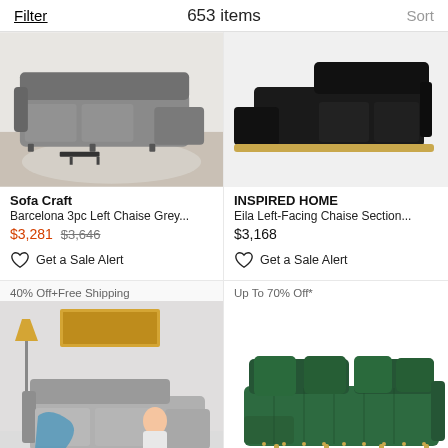Filter   653 items   Sort
[Figure (photo): Grey sectional sofa (Barcelona 3pc Left Chaise) on a rug in a living room setting]
Sofa Craft
Barcelona 3pc Left Chaise Grey...
$3,281  $3,646
Get a Sale Alert
[Figure (photo): Black velvet left-facing chaise sectional sofa with gold base (Eila) on white background]
INSPIRED HOME
Eila Left-Facing Chaise Section...
$3,168
Get a Sale Alert
[Figure (photo): Woman sitting on grey sectional sofa with blue throw blanket, lamp and painting in background. Promo: 40% Off+Free Shipping]
[Figure (photo): Dark green velvet tufted L-shaped sectional sofa with gold legs and pillows. Promo: Up To 70% Off*]